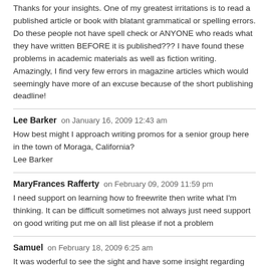Thanks for your insights. One of my greatest irritations is to read a published article or book with blatant grammatical or spelling errors. Do these people not have spell check or ANYONE who reads what they have written BEFORE it is published??? I have found these problems in academic materials as well as fiction writing. Amazingly, I find very few errors in magazine articles which would seemingly have more of an excuse because of the short publishing deadline!
Lee Barker on January 16, 2009 12:43 am
How best might I approach writing promos for a senior group here in the town of Moraga, California?
Lee Barker
MaryFrances Rafferty on February 09, 2009 11:59 pm
I need support on learning how to freewrite then write what I'm thinking. It can be difficult sometimes not always just need support on good writing put me on all list please if not a problem
Samuel on February 18, 2009 6:25 am
It was woderful to see the sight and have some insight regarding letter writing. Thanks lot.